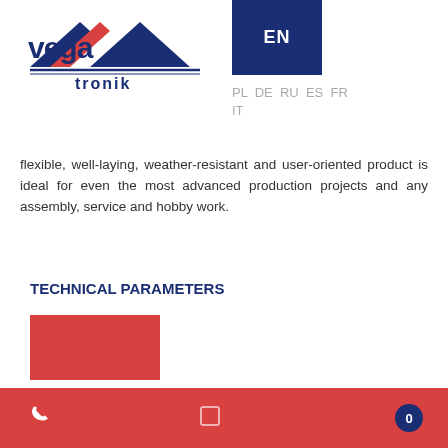[Figure (logo): Vega Tronik logo — stylized white/blue/red striped swoosh with 'vega tronik' text below]
[Figure (other): Dark blue square with 'EN' text in white bold]
PL DE RU ES FR IT
flexible, well-laying, weather-resistant and user-oriented product is ideal for even the most advanced production projects and any assembly, service and hobby work.
TECHNICAL PARAMETERS
[Figure (other): Red rectangle block]
Zainteresowany produktem? Zadzwoń po ofertę:
22 817 80 80
Footer bar with phone icon, menu icon, and badge showing 0